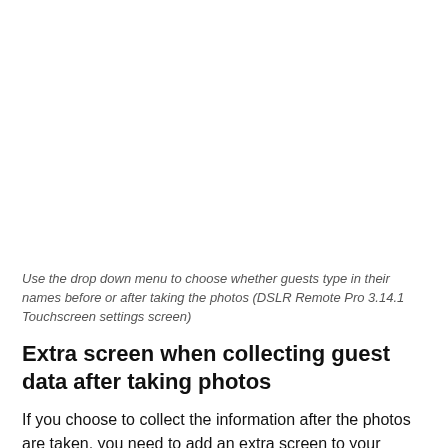Use the drop down menu to choose whether guests type in their names before or after taking the photos (DSLR Remote Pro 3.14.1 Touchscreen settings screen)
Extra screen when collecting guest data after taking photos
If you choose to collect the information after the photos are taken, you need to add an extra screen to your Photobooth (a special slide called the data gathering slide). Thi